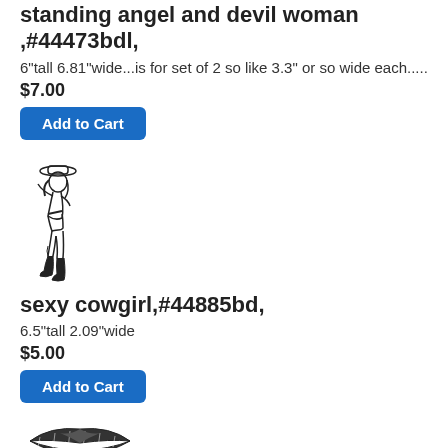standing angel and devil woman ,#44473bdl,
6"tall 6.81"wide...is for set of 2 so like 3.3" or so wide each.....
$7.00
Add to Cart
[Figure (illustration): Black and white illustration of a sexy cowgirl figure posing with a hat]
sexy cowgirl,#44885bd,
6.5"tall 2.09"wide
$5.00
Add to Cart
[Figure (illustration): Two black and white lip/mouth illustrations - one with decorative pattern and one solid bold lips]